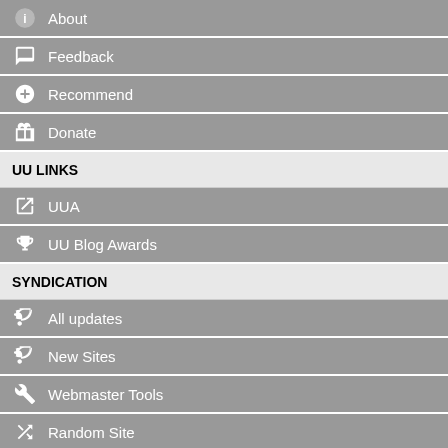About
Feedback
Recommend
Donate
UU LINKS
UUA
UU Blog Awards
SYNDICATION
All updates
New Sites
Webmaster Tools
Random Site
Tool Demos